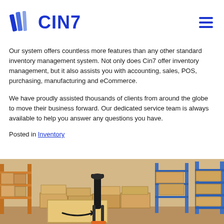CIN7
Our system offers countless more features than any other standard inventory management system. Not only does Cin7 offer inventory management, but it also assists you with accounting, sales, POS, purchasing, manufacturing and eCommerce.
We have proudly assisted thousands of clients from around the globe to move their business forward. Our dedicated service team is always available to help you answer any questions you have.
Posted in Inventory
[Figure (photo): Warehouse interior showing stacked Amazon boxes on pallets with a pallet jack, shelving racks in the background]